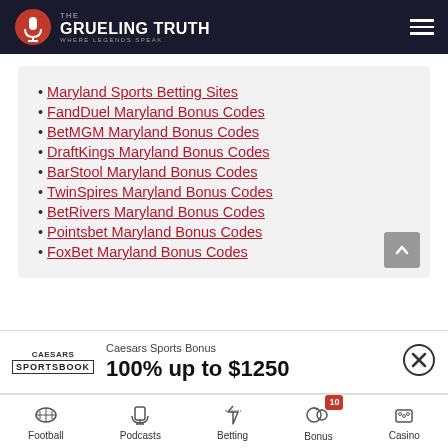THE GRUELING TRUTH — WHERE LEGENDS SPEAK
Maryland Sports Betting Sites
FandDuel Maryland Bonus Codes
BetMGM Maryland Bonus Codes
DraftKings Maryland Bonus Codes
BarStool Maryland Bonus Codes
TwinSpires Maryland Bonus Codes
BetRivers Maryland Bonus Codes
Pointsbet Maryland Bonus Codes
FoxBet Maryland Bonus Codes
Caesars Sports Bonus
100% up to $1250
Football | Podcasts | Betting | Bonus 10 | Casino